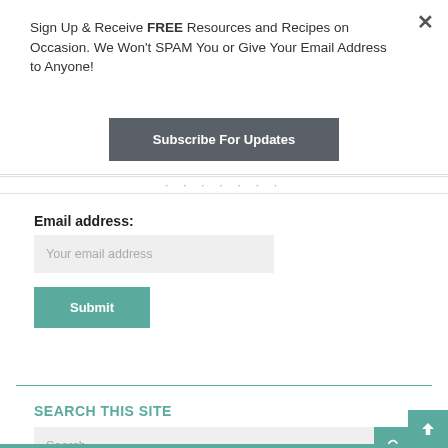Sign Up & Receive FREE Resources and Recipes on Occasion. We Won't SPAM You or Give Your Email Address to Anyone!
Subscribe For Updates
Email address:
Your email address
Submit
SEARCH THIS SITE
Search …